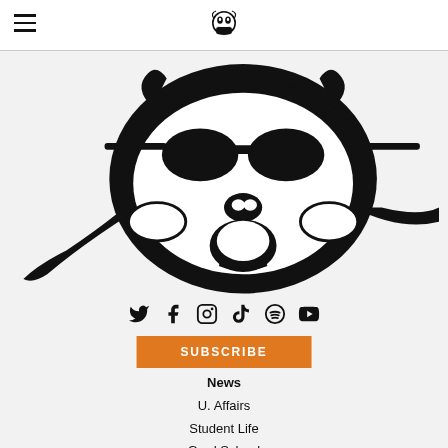≡ [mascot logo]
[Figure (illustration): Large black and white illustration of a bulldog mascot with sunglasses, looking fierce, cropped close-up filling most of the upper content area]
[Figure (infographic): Row of social media icons: Twitter, Facebook, Instagram, TikTok, Spotify, YouTube]
SUBSCRIBE
News
U. Affairs
Student Life
Grad School
Local
Alumni
Q&A